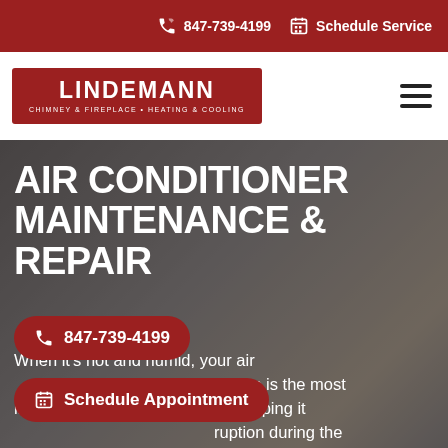847-739-4199  Schedule Service
[Figure (logo): Lindemann Chimney & Fireplace - Heating & Cooling logo, white text on dark red background with border]
AIR CONDITIONER MAINTENANCE & REPAIR
When it's hot and humid, your air [conditioning sys]tem is the most im[portant thing in your ho]me. Keeping it [running without inter]ruption during the hottest months is our top priority
847-739-4199
Schedule Appointment